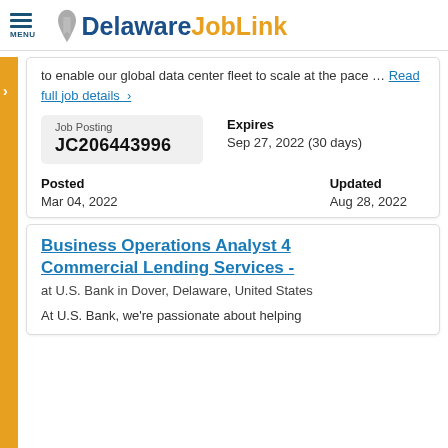Delaware JobLink
to enable our global data center fleet to scale at the pace … Read full job details >
| Job Posting | Expires | Posted | Updated |
| --- | --- | --- | --- |
| JC206443996 | Sep 27, 2022 (30 days) | Mar 04, 2022 | Aug 28, 2022 |
Business Operations Analyst 4 Commercial Lending Services -
at U.S. Bank in Dover, Delaware, United States
At U.S. Bank, we're passionate about helping